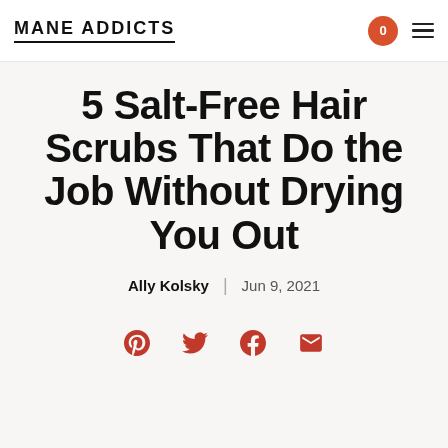MANE ADDICTS
5 Salt-Free Hair Scrubs That Do the Job Without Drying You Out
Ally Kolsky | Jun 9, 2021
[Figure (infographic): Social sharing icons: Pinterest, Twitter, Facebook, Email]